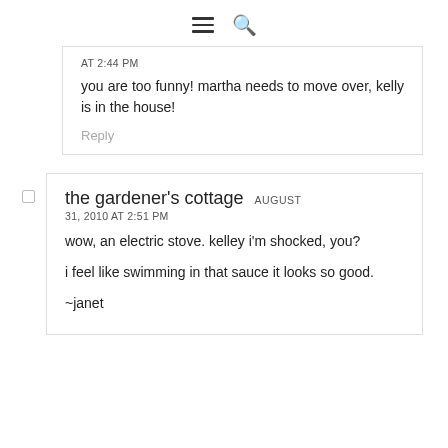[hamburger menu icon] [search icon]
AT 2:44 PM
you are too funny! martha needs to move over, kelly is in the house!
Reply
the gardener's cottage AUGUST 31, 2010 AT 2:51 PM
wow, an electric stove. kelley i'm shocked, you?
i feel like swimming in that sauce it looks so good.
~janet